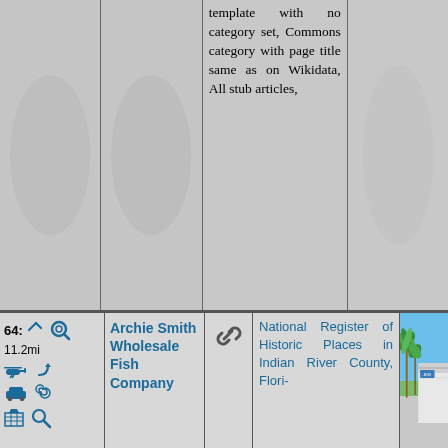|  |  | template with no category set, Commons category with page title same as on Wikidata, All stub articles, |  |
| 64: 11.2mi [icons] | Archie Smith Wholesale Fish Company | [link icon] | National Register of Historic Places in Indian River County, Flori- | [photo] |